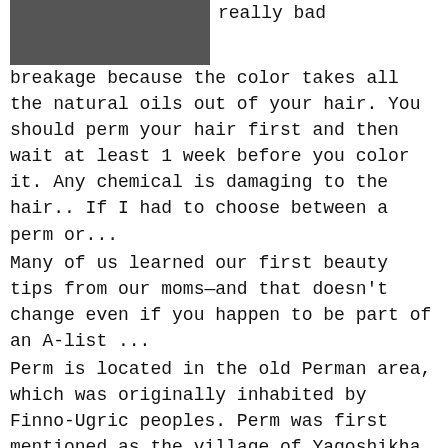[Figure (photo): Two women with long dark hair, appears to be a cropped photo at top of page]
really bad breakage because the color takes all the natural oils out of your hair. You should perm your hair first and then wait at least 1 week before you color it. Any chemical is damaging to the hair.. If I had to choose between a perm or...
Many of us learned our first beauty tips from our moms—and that doesn't change even if you happen to be part of an A-list ...
Perm is located in the old Perman area, which was originally inhabited by Finno-Ugric peoples. Perm was first mentioned as the village of Yagoshikha (Ягошиха) in 1647; however, the history of the modern city of Perm starts with the development of the Ural region by Tsar Peter the Great.
The post T.I. addresses past comments on testing his daughter's virginity on Jada Pinkett Smith's red table talk: Watch ...
When she was a little girl growing up in small-town